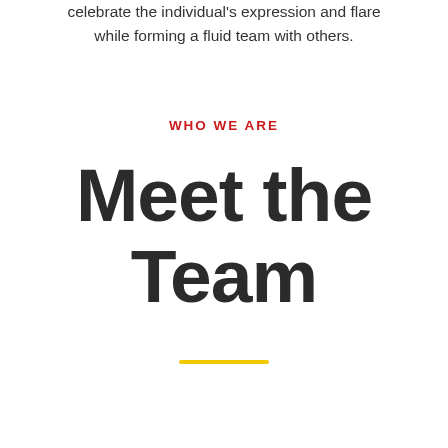celebrate the individual's expression and flare while forming a fluid team with others.
WHO WE ARE
Meet the Team